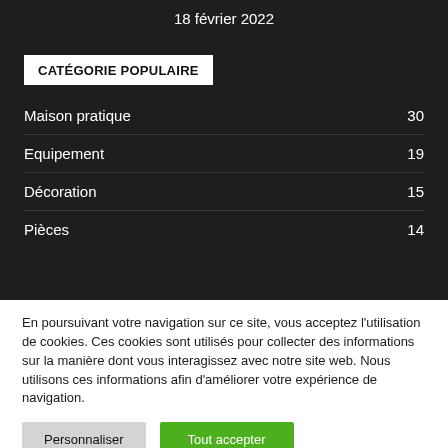18 février 2022
CATÉGORIE POPULAIRE
Maison pratique 30
Equipement 19
Décoration 15
Pièces 14
En poursuivant votre navigation sur ce site, vous acceptez l'utilisation de cookies. Ces cookies sont utilisés pour collecter des informations sur la manière dont vous interagissez avec notre site web. Nous utilisons ces informations afin d'améliorer votre expérience de navigation.
Personnaliser
Tout accepter